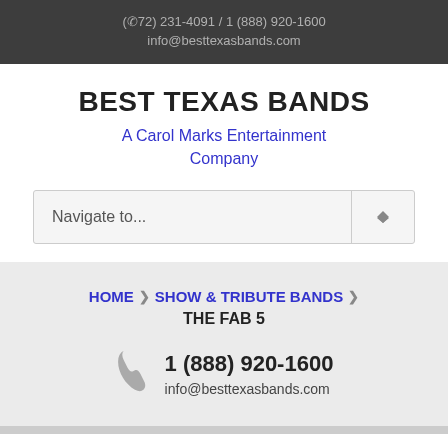(972) 231-4091 / 1 (888) 920-1600
info@besttexasbands.com
BEST TEXAS BANDS
A Carol Marks Entertainment Company
[Figure (screenshot): Navigation dropdown selector showing 'Navigate to...' with up/down arrow button]
HOME > SHOW & TRIBUTE BANDS > THE FAB 5
1 (888) 920-1600
info@besttexasbands.com